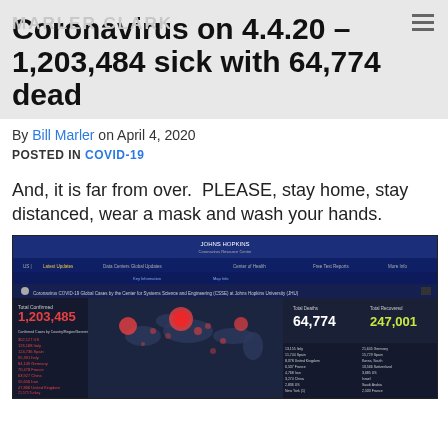MARLER CLARK
Coronavirus on 4.4.20 – 1,203,484 sick with 64,774 dead
By Bill Marler on April 4, 2020
POSTED IN COVID-19
And, it is far from over.  PLEASE, stay home, stay distanced, wear a mask and wash your hands.
[Figure (screenshot): Johns Hopkins Coronavirus COVID-19 Global Cases dashboard showing a world map with red dots indicating case concentration. Total Confirmed: 1,203,485. Total Deaths: 64,774. Total Recovered: 247,001. Dark-themed dashboard interface with country-level breakdown listed on left and right panels.]